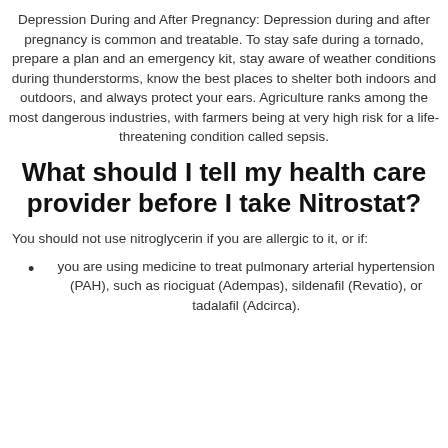Depression During and After Pregnancy: Depression during and after pregnancy is common and treatable. To stay safe during a tornado, prepare a plan and an emergency kit, stay aware of weather conditions during thunderstorms, know the best places to shelter both indoors and outdoors, and always protect your ears. Agriculture ranks among the most dangerous industries, with farmers being at very high risk for a life-threatening condition called sepsis.
What should I tell my health care provider before I take Nitrostat?
You should not use nitroglycerin if you are allergic to it, or if:
you are using medicine to treat pulmonary arterial hypertension (PAH), such as riociguat (Adempas), sildenafil (Revatio), or tadalafil (Adcirca).